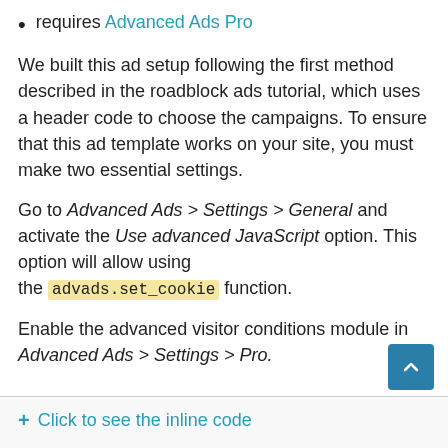requires Advanced Ads Pro
We built this ad setup following the first method described in the roadblock ads tutorial, which uses a header code to choose the campaigns. To ensure that this ad template works on your site, you must make two essential settings.
Go to Advanced Ads > Settings > General and activate the Use advanced JavaScript option. This option will allow using the advads.set_cookie function.
Enable the advanced visitor conditions module in Advanced Ads > Settings > Pro.
+ Click to see the inline code